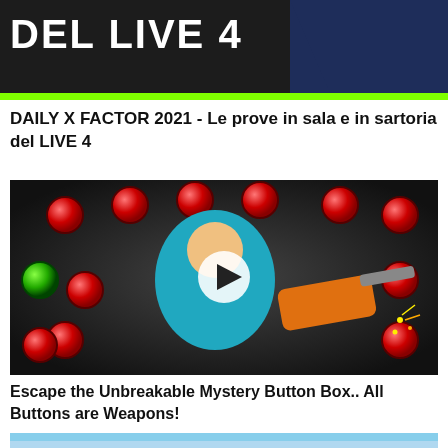[Figure (screenshot): Thumbnail image for 'DAILY X FACTOR 2021 - Le prove in sala e in sartoria del LIVE 4' showing bold white text on dark background with a person in a suit and green accent bar at bottom]
DAILY X FACTOR 2021 - Le prove in sala e in sartoria del LIVE 4
[Figure (screenshot): Video thumbnail showing a young blonde person holding an orange chainsaw cutting something with sparks flying, surrounded by red button circles on metallic walls, with a white play button in the center]
Escape the Unbreakable Mystery Button Box.. All Buttons are Weapons!
[Figure (screenshot): Partial thumbnail showing what appears to be an outdoor scene with blue sky]